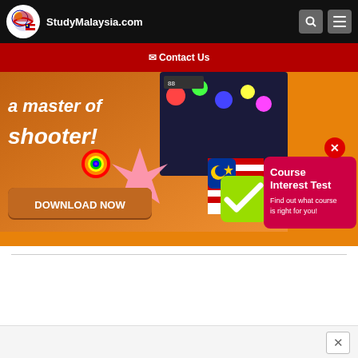StudyMalaysia.com
✉ Contact Us
[Figure (screenshot): Advertisement banner showing a mobile game with text 'a master of shooter!' and a 'DOWNLOAD NOW' button, overlaid with a Course Interest Test widget featuring a Malaysian flag checkmark and text 'Course Interest Test - Find out what course is right for you!']
×